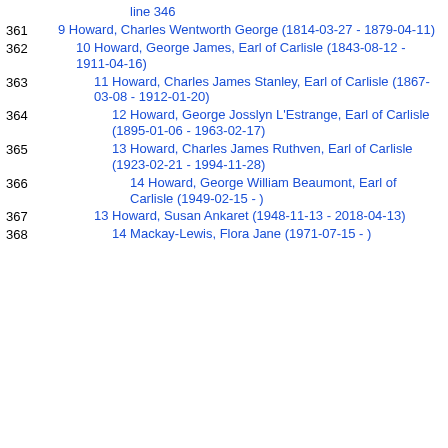line 346
361  9 Howard, Charles Wentworth George (1814-03-27 - 1879-04-11)
362  10 Howard, George James, Earl of Carlisle (1843-08-12 - 1911-04-16)
363  11 Howard, Charles James Stanley, Earl of Carlisle (1867-03-08 - 1912-01-20)
364  12 Howard, George Josslyn L'Estrange, Earl of Carlisle (1895-01-06 - 1963-02-17)
365  13 Howard, Charles James Ruthven, Earl of Carlisle (1923-02-21 - 1994-11-28)
366  14 Howard, George William Beaumont, Earl of Carlisle (1949-02-15 - )
367  13 Howard, Susan Ankaret (1948-11-13 - 2018-04-13)
368  14 Mackay-Lewis, Flora Jane (1971-07-15 - )